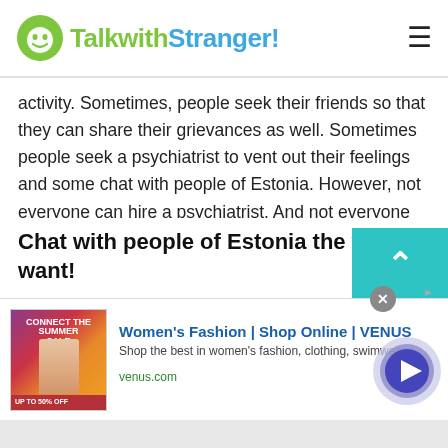TalkwithStranger!
activity. Sometimes, people seek their friends so that they can share their grievances as well. Sometimes people seek a psychiatrist to vent out their feelings and some chat with people of Estonia. However, not everyone can hire a psychiatrist. And not everyone likes to share their feelings with their friend or a family member. In this regard platforms like Talkwithstranger come to help the people chat with people of Estonia.
Chat with people of Estonia the way you want!
[Figure (other): Advertisement banner for Women's Fashion | Shop Online | VENUS. Shows promotional image with 'SUMMER SALE' text, ad title in blue, subtitle and venus.com URL in green. Has close button and play/navigate button.]